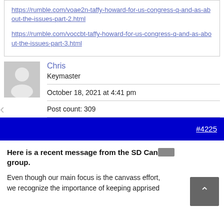https://rumble.com/voae2n-taffy-howard-for-us-congress-q-and-as-about-the-issues-part-2.html
https://rumble.com/voccbt-taffy-howard-for-us-congress-q-and-as-about-the-issues-part-3.html
Chris
Keymaster
October 18, 2021 at 4:41 pm
Post count: 309
#4225
Here is a recent message from the SD Canvass group.
Even though our main focus is the canvass effort, we recognize the importance of keeping apprised